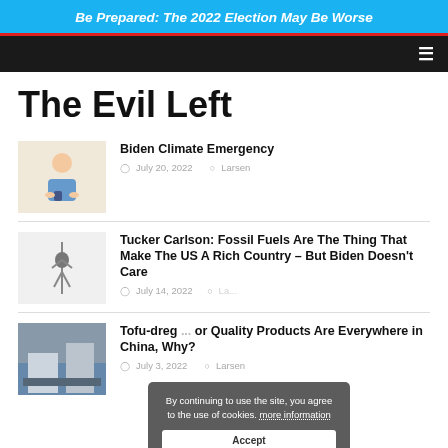Be Prepared: The 2022 Election May Be Worse
The Evil Left
Biden Climate Emergency
July 20, 2022  Larsen
Tucker Carlson: Fossil Fuels Are The Thing That Make The US A Rich Country – But Biden Doesn't Care
July 14, 2022  Larsen
Tofu-dreg ... or Quality Products Are Everywhere in China, Why?
July 3, 2022  Larsen
By continuing to use the site, you agree to the use of cookies. more information
Accept